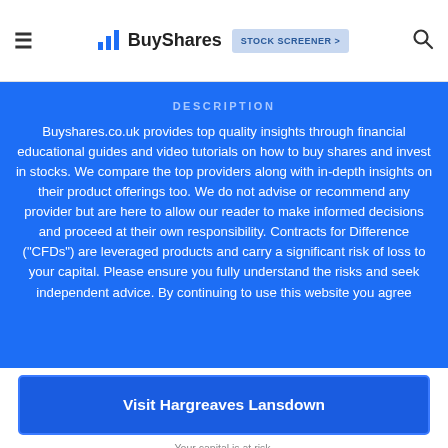BuyShares | STOCK SCREENER >
DESCRIPTION
Buyshares.co.uk provides top quality insights through financial educational guides and video tutorials on how to buy shares and invest in stocks. We compare the top providers along with in-depth insights on their product offerings too. We do not advise or recommend any provider but are here to allow our reader to make informed decisions and proceed at their own responsibility. Contracts for Difference ("CFDs") are leveraged products and carry a significant risk of loss to your capital. Please ensure you fully understand the risks and seek independent advice. By continuing to use this website you agree
Visit Hargreaves Lansdown
Your capital is at risk.